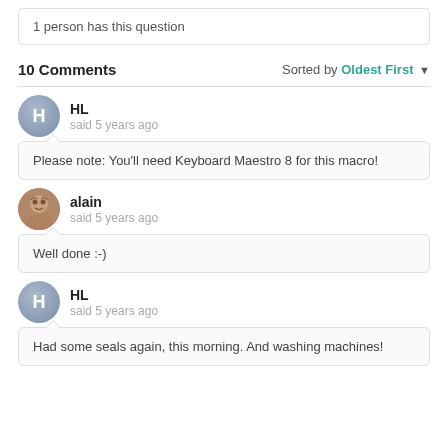1 person has this question
10 Comments   Sorted by Oldest First
HL said 5 years ago
Please note: You'll need Keyboard Maestro 8 for this macro!
alain said 5 years ago
Well done :-)
HL said 5 years ago
Had some seals again, this morning. And washing machines!